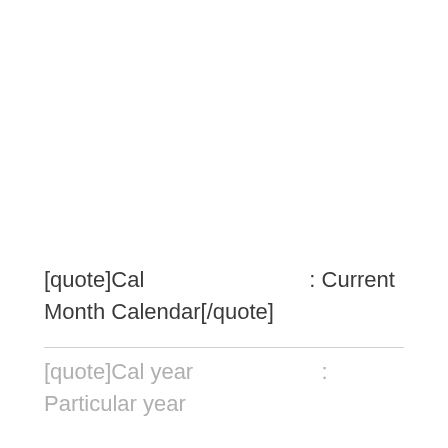[quote]Cal                    : Current Month Calendar[/quote]
[quote]Cal year                  : Particular year calendar[...]